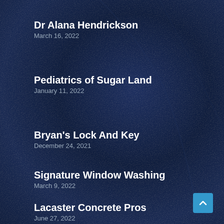Dr Alana Hendrickson
March 16, 2022
Pediatrics of Sugar Land
January 11, 2022
Bryan's Lock And Key
December 24, 2021
Signature Window Washing
March 9, 2022
Lacaster Concrete Pros
June 27, 2022